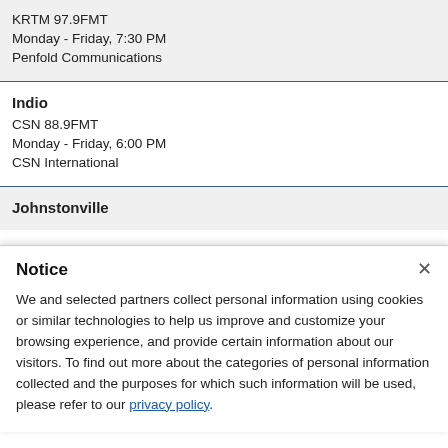KRTM 97.9FMT
Monday - Friday, 7:30 PM
Penfold Communications
Indio
CSN 88.9FMT
Monday - Friday, 6:00 PM
CSN International
Johnstonville
Notice
We and selected partners collect personal information using cookies or similar technologies to help us improve and customize your browsing experience, and provide certain information about our visitors. To find out more about the categories of personal information collected and the purposes for which such information will be used, please refer to our privacy policy.